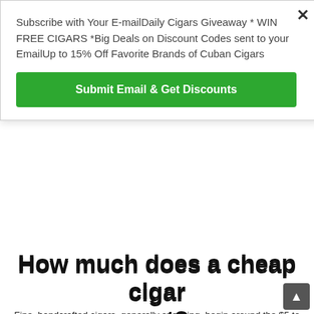Subscribe with Your E-mailDaily Cigars Giveaway * WIN FREE CIGARS *Big Deals on Discount Codes sent to your EmailUp to 15% Off Favorite Brands of Cuban Cigars
Submit Email & Get Discounts
How much does a cheap cigar cost?
Fine, handcrafted cigars, generally speaking, begin around the $5 to $8 price range and can go north of $40 or $50 apiece
What is best cigar?
-These Are the Best Cigars of 2018, According To Cigar Aficionado
1.The Wise Man Maduro Robusto.
2.Padrón Family Reserve No. 44 (Natural) …
3.H. Upmann Sir Winston. …
4.Arturo Fuente Hemingway Work of Art. …
5.JFR Lunatic Habano Short Robusto. …